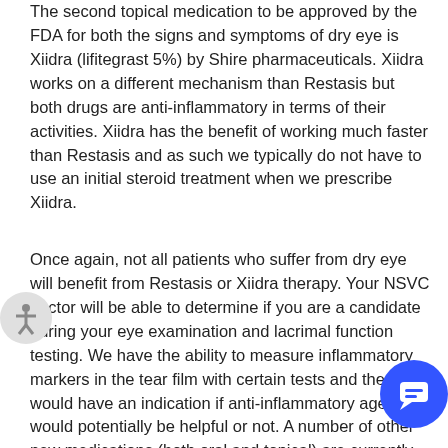The second topical medication to be approved by the FDA for both the signs and symptoms of dry eye is Xiidra (lifitegrast 5%) by Shire pharmaceuticals. Xiidra works on a different mechanism than Restasis but both drugs are anti-inflammatory in terms of their activities. Xiidra has the benefit of working much faster than Restasis and as such we typically do not have to use an initial steroid treatment when we prescribe Xiidra.
Once again, not all patients who suffer from dry eye will benefit from Restasis or Xiidra therapy. Your NSVC doctor will be able to determine if you are a candidate during your eye examination and lacrimal function testing. We have the ability to measure inflammatory markers in the tear film with certain tests and therefore would have an indication if anti-inflammatory agents would potentially be helpful or not. A number of other new medications (both oral and topical) are currently being investigated for the treatment of dry eye. The general term for agents that stimulate tear production is secretagogues. Please check in at our web site